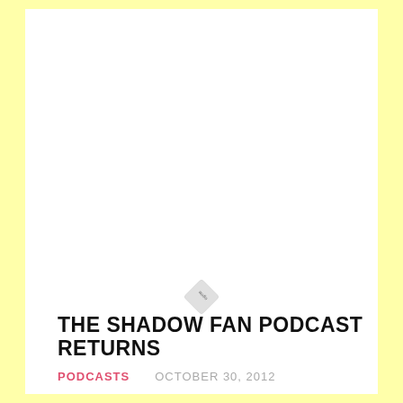[Figure (illustration): Small rotated diamond/rhombus shape icon, light gray with subtle text or lines inside, positioned above the article title]
THE SHADOW FAN PODCAST RETURNS
PODCASTS    OCTOBER 30, 2012